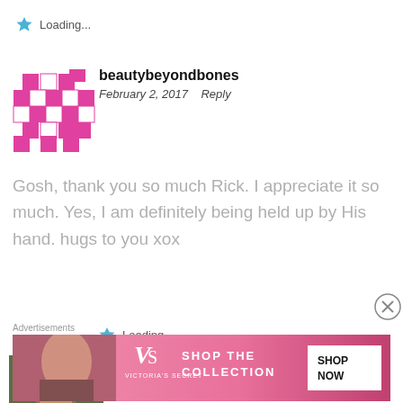Loading...
beautybeyondbones
February 2, 2017   Reply
Gosh, thank you so much Rick. I appreciate it so much. Yes, I am definitely being held up by His hand. hugs to you xox
Loading...
Mark
February 2, 2017   Reply
Advertisements
[Figure (screenshot): Victoria's Secret advertisement banner with model, VS logo, 'SHOP THE COLLECTION' text and 'SHOP NOW' button]